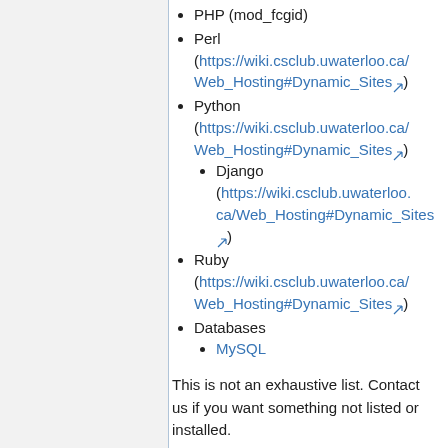PHP (mod_fcgid)
Perl (https://wiki.csclub.uwaterloo.ca/Web_Hosting#Dynamic_Sites)
Python (https://wiki.csclub.uwaterloo.ca/Web_Hosting#Dynamic_Sites)
Django (https://wiki.csclub.uwaterloo.ca/Web_Hosting#Dynamic_Sites)
Ruby (https://wiki.csclub.uwaterloo.ca/Web_Hosting#Dynamic_Sites)
Databases
MySQL
This is not an exhaustive list. Contact us if you want something not listed or installed.